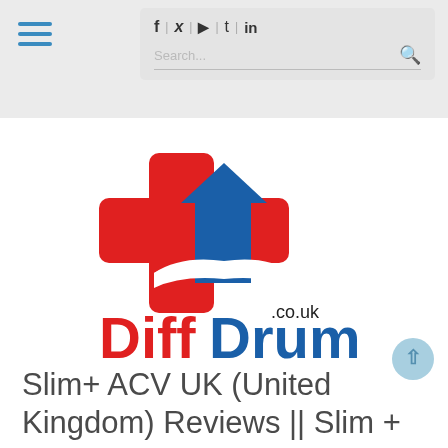f | ✓ | ■ | t | in  Search...
[Figure (logo): DiffDrum.co.uk logo: a red medical cross shape with a blue upward arrow/house shape inside, with the text 'Diff' in red and 'Drum' in blue and '.co.uk' in black above]
Slim+ ACV UK (United Kingdom) Reviews || Slim +